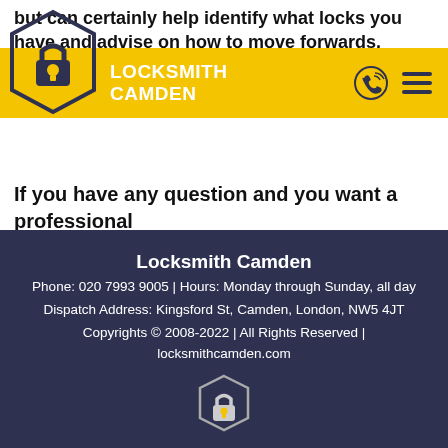but can certainly help identify what locks you have and advise on how to move forwards. If you have any question and you want a professional and experienced answer then be sure to give a ring on 020 7993 9005.
LOCKSMITH CAMDEN
Locksmith Camden
Phone: 020 7993 9005 | Hours: Monday through Sunday, all day
Dispatch Address: Kingsford St, Camden, London, NW5 4JT
Copyrights © 2008-2022 | All Rights Reserved | locksmithcamden.com